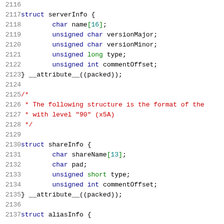[Figure (screenshot): Source code listing showing C struct definitions for serverInfo and shareInfo, with line numbers 2116-2137, syntax highlighted in blue, red, and green on white background]